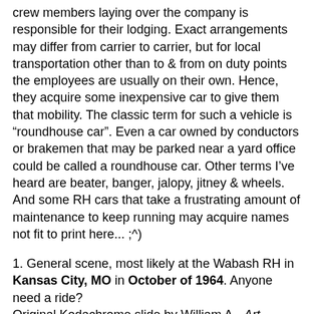crew members laying over the company is responsible for their lodging. Exact arrangements may differ from carrier to carrier, but for local transportation other than to & from on duty points the employees are usually on their own. Hence, they acquire some inexpensive car to give them that mobility. The classic term for such a vehicle is "roundhouse car". Even a car owned by conductors or brakemen that may be parked near a yard office could be called a roundhouse car. Other terms I've heard are beater, banger, jalopy, jitney & wheels. And some RH cars that take a frustrating amount of maintenance to keep running may acquire names not fit to print here... ;^)
1. General scene, most likely at the Wabash RH in Kansas City, MO in October of 1964. Anyone need a ride?
Original Kodachrome slide by William A. -Art- Gibson (WAG) Jr.